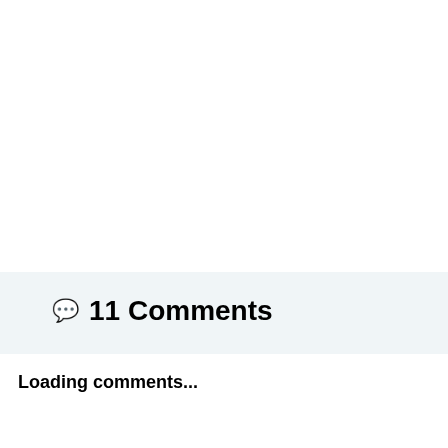💬 11 Comments
Loading comments...